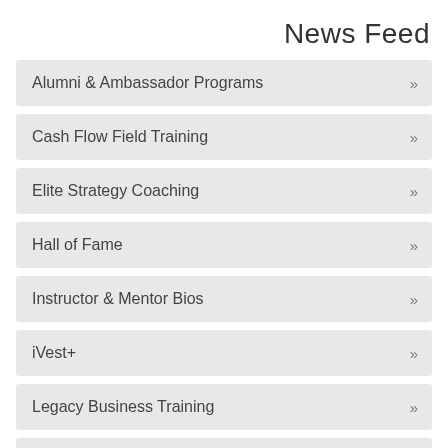News Feed
Alumni & Ambassador Programs
Cash Flow Field Training
Elite Strategy Coaching
Hall of Fame
Instructor & Mentor Bios
iVest+
Legacy Business Training
Mentoring Program